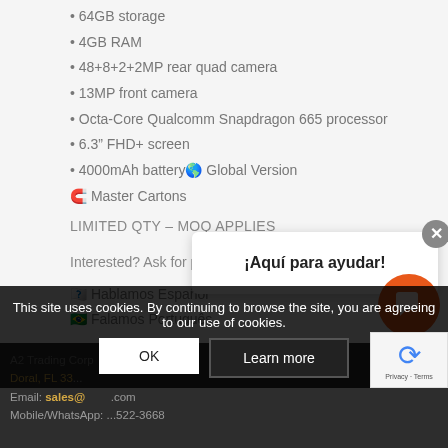• 64GB storage
• 4GB RAM
• 48+8+2+2MP rear quad camera
• 13MP front camera
• Octa-Core Qualcomm Snapdragon 665 processor
• 6.3″ FHD+ screen
• 4000mAh battery 🌍 Global Version
🧲 Master Cartons
LIMITED QTY – MOQ APPLIES
Interested? Ask for price and M
🇪🇸 Hablamos Español
🇧🇷 Falamos Português
Regards,
A2 Trading Corp
Doral, FL 33...
Email: sales@...com
Mobile/WhatsApp: ...522-3668
¡Aquí para ayudar!
This site uses cookies. By continuing to browse the site, you are agreeing to our use of cookies.
OK
Learn more